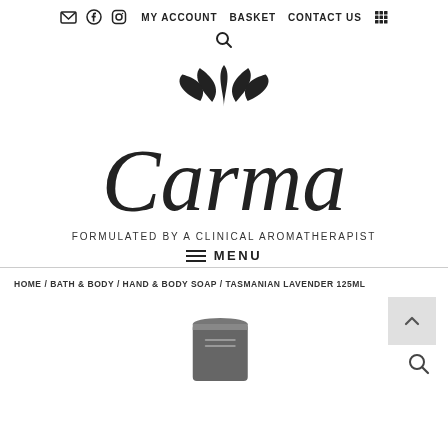MY ACCOUNT  BASKET  CONTACT US
[Figure (logo): Carma logo with lotus/leaf icon above script text 'Carma' and tagline 'FORMULATED BY A CLINICAL AROMATHERAPIST']
☰ MENU
HOME / BATH & BODY / HAND & BODY SOAP / TASMANIAN LAVENDER 125ML
[Figure (photo): Partial view of a dark grey cylindrical soap product container]